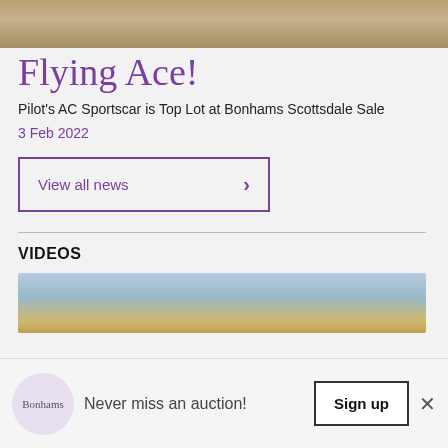[Figure (photo): Top portion of a car photograph, showing the bottom of a vehicle on a surface, cropped at the top of the page]
Flying Ace!
Pilot's AC Sportscar is Top Lot at Bonhams Scottsdale Sale
3 Feb 2022
View all news
VIDEOS
[Figure (screenshot): Partial video thumbnail showing a landscape with mountains and road]
Never miss an auction!
Sign up